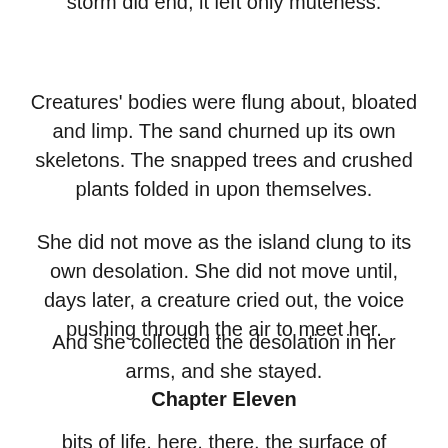storm did end, it left only muteness.
Creatures' bodies were flung about, bloated and limp. The sand churned up its own skeletons. The snapped trees and crushed plants folded in upon themselves.
She did not move as the island clung to its own desolation. She did not move until, days later, a creature cried out, the voice pushing through the air to meet her.
And she collected the desolation in her arms, and she stayed.
Chapter Eleven
...bits of life, here, there, the surface of...